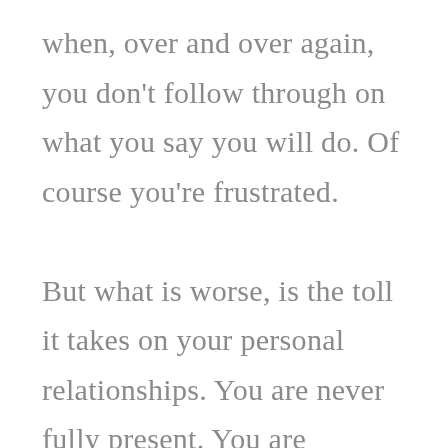when, over and over again, you don't follow through on what you say you will do. Of course you're frustrated. But what is worse, is the toll it takes on your personal relationships. You are never fully present. You are distracted and constantly thinking about all of the tasks left undone, even when spending time with friends